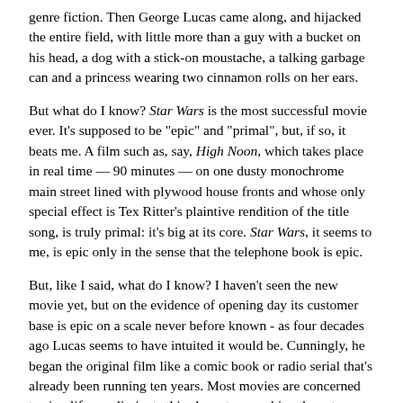genre fiction. Then George Lucas came along, and hijacked the entire field, with little more than a guy with a bucket on his head, a dog with a stick-on moustache, a talking garbage can and a princess wearing two cinnamon rolls on her ears.
But what do I know? Star Wars is the most successful movie ever. It's supposed to be "epic" and "primal", but, if so, it beats me. A film such as, say, High Noon, which takes place in real time — 90 minutes — on one dusty monochrome main street lined with plywood house fronts and whose only special effect is Tex Ritter's plaintive rendition of the title song, is truly primal: it's big at its core. Star Wars, it seems to me, is epic only in the sense that the telephone book is epic.
But, like I said, what do I know? I haven't seen the new movie yet, but on the evidence of opening day its customer base is epic on a scale never before known - as four decades ago Lucas seems to have intuited it would be. Cunningly, he began the original film like a comic book or radio serial that's already been running ten years. Most movies are concerned to simplify — eliminate this character, combine those two — but Lucas hooked his Star Wars groupies with a Tolkienesque multitude of creatures, most of whom are entirely superfluous. Twenty years later, for a "special edition" re-release, he used state-of-the-art computer technology to insert Jabba the Hutt into a scene with